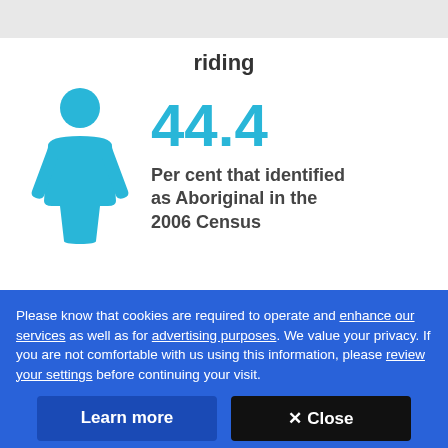riding
[Figure (infographic): Cyan person icon (human figure silhouette) with stat: 44.4 Per cent that identified as Aboriginal in the 2006 Census]
44.4
Per cent that identified as Aboriginal in the 2006 Census
Please know that cookies are required to operate and enhance our services as well as for advertising purposes. We value your privacy. If you are not comfortable with us using this information, please review your settings before continuing your visit.
Learn more
✕ Close